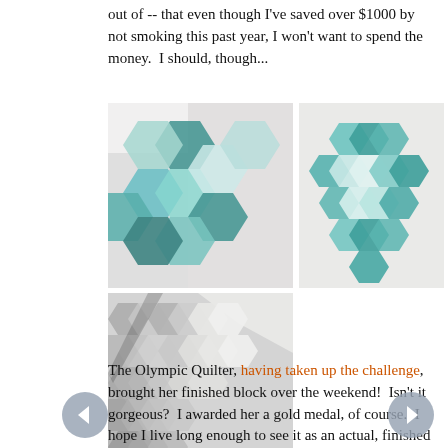out of -- that even though I've saved over $1000 by not smoking this past year, I won't want to spend the money.  I should, though...
[Figure (photo): Close-up photo of a hexagon quilt with teal and floral fabrics on white background]
[Figure (photo): Photo of a hexagon quilt showing teal heart-shaped arrangement on white fabric]
[Figure (photo): Photo of a grey/white hexagon quilt block laid flat]
The Olympic Quilter, having taken up the challenge, brought her finished block over the weekend!  Isn't it gorgeous?  I awarded her a gold medal, of course.  I hope I live long enough to see it as an actual, finished quilt.  ; )